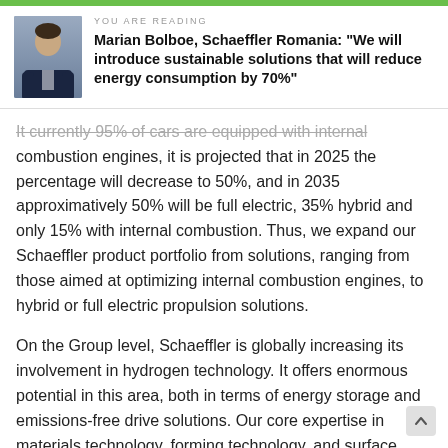YOU ARE READING
Marian Bolboe, Schaeffler Romania: "We will introduce sustainable solutions that will reduce energy consumption by 70%"
It currently 95% of cars are equipped with internal combustion engines, it is projected that in 2025 the percentage will decrease to 50%, and in 2035 approximatively 50% will be full electric, 35% hybrid and only 15% with internal combustion. Thus, we expand our Schaeffler product portfolio from solutions, ranging from those aimed at optimizing internal combustion engines, to hybrid or full electric propulsion solutions.
On the Group level, Schaeffler is globally increasing its involvement in hydrogen technology. It offers enormous potential in this area, both in terms of energy storage and emissions-free drive solutions. Our core expertise in materials technology, forming technology, and surface technology will enable the efficient high-volume